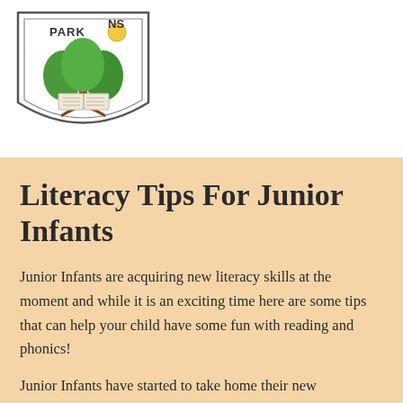[Figure (logo): School shield logo with tree and open book, text PARK HS at top]
Literacy Tips For Junior Infants
Junior Infants are acquiring new literacy skills at the moment and while it is an exciting time here are some tips that can help your child have some fun with reading and phonics!
Junior Infants have started to take home their new